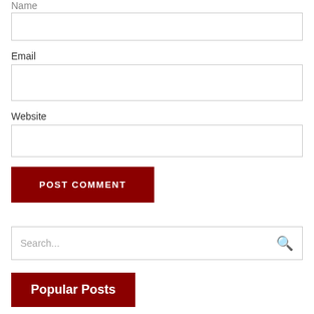Name
(name input field)
Email
(email input field)
Website
(website input field)
POST COMMENT
Search...
Popular Posts
Looking for some dates want to be your